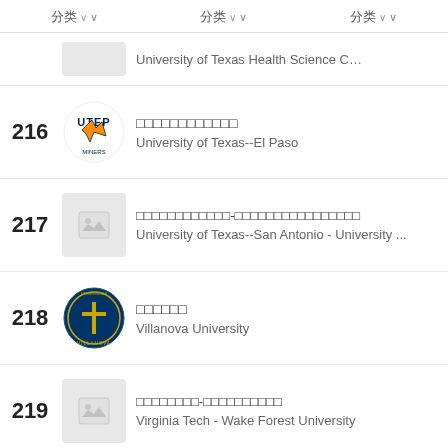分类  分类  分类
University of Texas Health Science Center--S...
216 □□□□□□□□□□□□ University of Texas--El Paso
217 □□□□□□□□□□□□-□□□□□□□□□□□□□□□□ University of Texas--San Antonio - University ...
218 □□□□□□ Villanova University
219 □□□□□□□□-□□□□□□□□□□ Virginia Tech - Wake Forest University
□□□□□:□ICP□20012898□